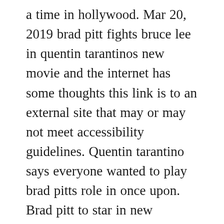a time in hollywood. Mar 20, 2019 brad pitt fights bruce lee in quentin tarantinos new movie and the internet has some thoughts this link is to an external site that may or may not meet accessibility guidelines. Quentin tarantino says everyone wanted to play brad pitts role in once upon. Brad pitt to star in new tarantino film springfield newsleader. Jan 22, 2020 i swear to god, i had to hide a tear, brad pitt says, looking over at quentin tarantino and leonardo dicaprio, remembering the first time tarantino played him the jose feliciano cover of.